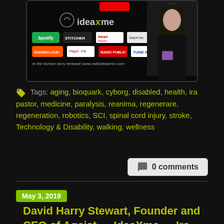[Figure (screenshot): IdeaXme podcast logo and streaming platform logos including Spotify, Stitcher, iHeart Radio, IdeaXme, SoundCloud, PlayerFM, Radio Public, TuneIn, with a woman in a black shirt visible on the right side]
Tags: aging, bioquark, cyborg, disabled, health, ira pastor, medicine, paralysis, reanima, regenerare, regeneration, robotics, SCI, spinal cord injury, stroke, Technology & Disability, walking, wellness
0 comments
May 3, 2019
David Harry Stewart, Founder and CEO of Ageist — IdeaXme — Ira Pastor — "Live Fast, Die Old!"